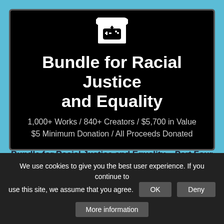[Figure (screenshot): itch.io Bundle for Racial Justice and Equality promotional banner. Black background with white itch.io store logo icon at top center, large bold white text reading 'Bundle for Racial Justice and Equality', and gray subtitle text '1,000+ Works / 840+ Creators / $5,700 in Value $5 Minimum Donation / All Proceeds Donated']
Bundle for Racial Justice and Equality – Part Four
Jun 9, 2020
We use cookies to give you the best user experience. If you continue to use this site, we assume that you agree.